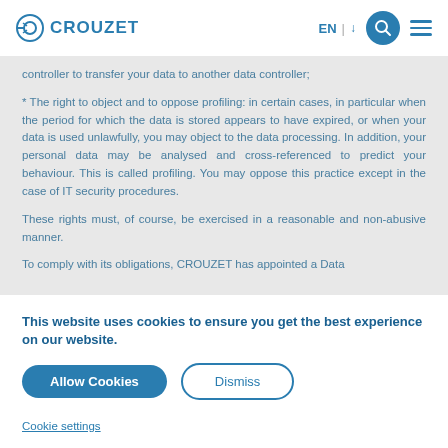CROUZET | EN
controller to transfer your data to another data controller;
* The right to object and to oppose profiling: in certain cases, in particular when the period for which the data is stored appears to have expired, or when your data is used unlawfully, you may object to the data processing. In addition, your personal data may be analysed and cross-referenced to predict your behaviour. This is called profiling. You may oppose this practice except in the case of IT security procedures.
These rights must, of course, be exercised in a reasonable and non-abusive manner.
To comply with its obligations, CROUZET has appointed a Data
This website uses cookies to ensure you get the best experience on our website.
Allow Cookies
Dismiss
Cookie settings